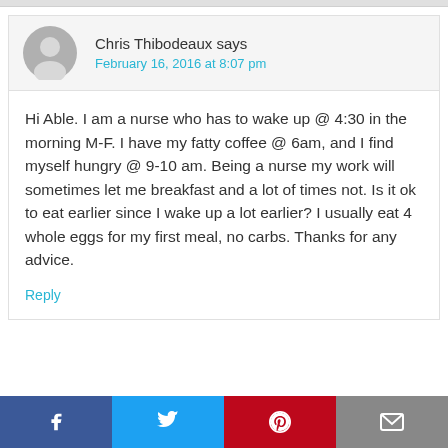Chris Thibodeaux says
February 16, 2016 at 8:07 pm
Hi Able. I am a nurse who has to wake up @ 4:30 in the morning M-F. I have my fatty coffee @ 6am, and I find myself hungry @ 9-10 am. Being a nurse my work will sometimes let me breakfast and a lot of times not. Is it ok to eat earlier since I wake up a lot earlier? I usually eat 4 whole eggs for my first meal, no carbs. Thanks for any advice.
Reply